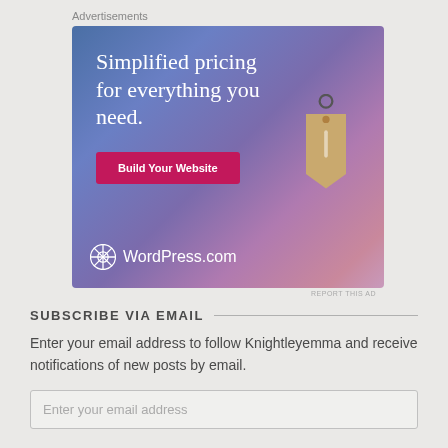Advertisements
[Figure (illustration): WordPress.com advertisement banner with gradient blue-purple-pink background. Text reads 'Simplified pricing for everything you need.' with a pink 'Build Your Website' button and a hanging price tag illustration. WordPress.com logo at bottom left.]
REPORT THIS AD
SUBSCRIBE VIA EMAIL
Enter your email address to follow Knightleyemma and receive notifications of new posts by email.
Enter your email address